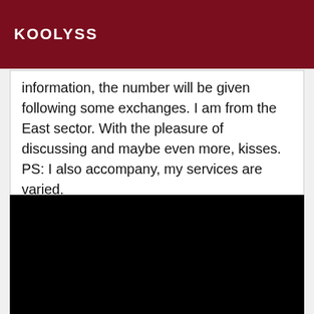KOOLYSS
information, the number will be given following some exchanges. I am from the East sector. With the pleasure of discussing and maybe even more, kisses. PS: I also accompany, my services are varied.
[Figure (photo): Black rectangular image area, content not visible]